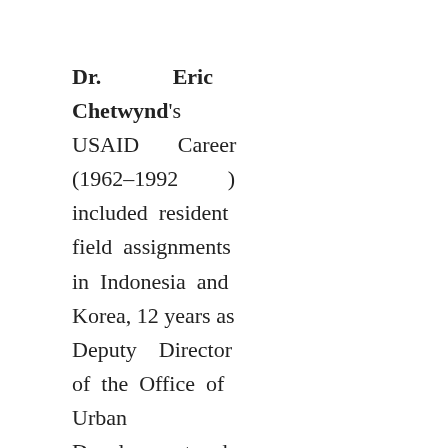Dr. Eric Chetwynd's USAID Career (1962–1992) included resident field assignments in Indonesia and Korea, 12 years as Deputy Director of the Office of Urban Development and concluded with an assignment as Director of the Office of Economic and Institutional Development. After leaving USAID, Dr. Chetwynd served as